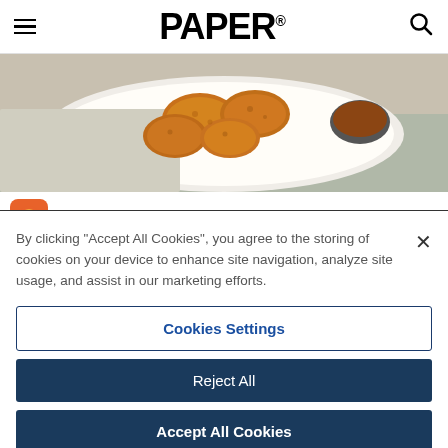PAPER
[Figure (photo): Fried chicken nuggets on a white plate with dipping sauce, on a cloth napkin]
Ordena Aqui
Pollo Campero
By clicking “Accept All Cookies”, you agree to the storing of cookies on your device to enhance site navigation, analyze site usage, and assist in our marketing efforts.
Cookies Settings
Reject All
Accept All Cookies